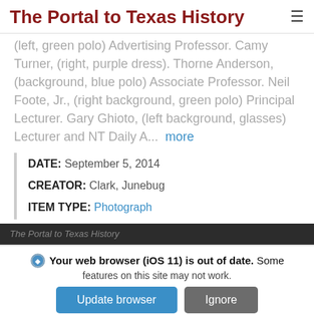The Portal to Texas History
(left, green polo) Advertising Professor. Camy Turner, (right, purple dress). Thorne Anderson, (background, blue polo) Associate Professor. Neil Foote, Jr., (right background, green polo) Principal Lecturer. Gary Ghioto, (left background, glasses) Lecturer and NT Daily A... more
| DATE: | September 5, 2014 |
| CREATOR: | Clark, Junebug |
| ITEM TYPE: | Photograph |
The Portal to Texas History
Your web browser (iOS 11) is out of date. Some features on this site may not work.